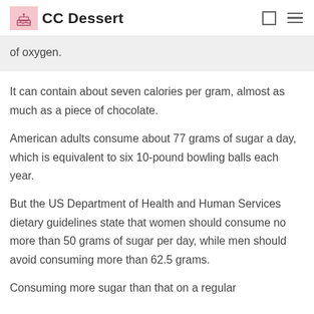CC Dessert
of oxygen.
It can contain about seven calories per gram, almost as much as a piece of chocolate.
American adults consume about 77 grams of sugar a day, which is equivalent to six 10-pound bowling balls each year.
But the US Department of Health and Human Services dietary guidelines state that women should consume no more than 50 grams of sugar per day, while men should avoid consuming more than 62.5 grams.
Consuming more sugar than that on a regular